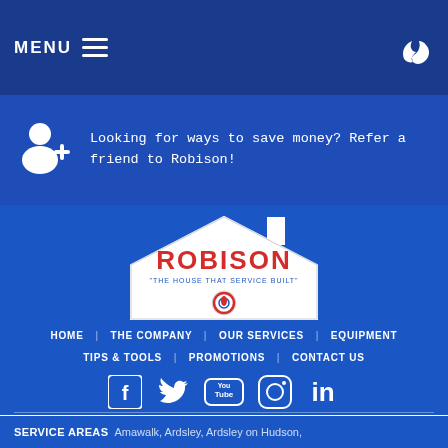MENU ≡
Looking for ways to save money? Refer a friend to Robison!
[Figure (logo): Robison logo — house outline with ROBISON text in red, subtitle 'THE HOUSE THAT SERVICE BUILT' and flame icon below]
HOME | THE COMPANY | OUR SERVICES | EQUIPMENT | TIPS & TOOLS | PROMOTIONS | CONTACT US
[Figure (infographic): Social media icons: Facebook, Twitter, YouTube, Instagram, LinkedIn]
SERVICE AREAS  Amawalk, Ardsley, Ardsley on Hudson,